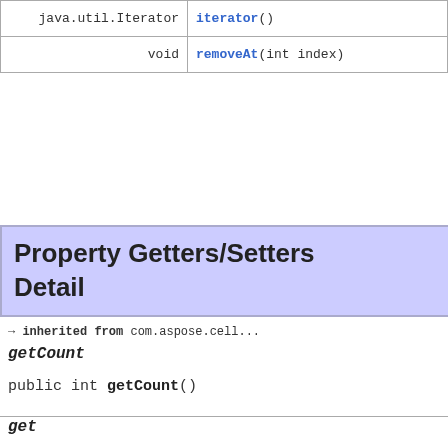| Return Type | Method |
| --- | --- |
| java.util.Iterator | iterator() |
| void | removeAt(int index) |
Property Getters/Setters Detail
→ inherited from com.aspose.cell...
getCount
public int getCount()
get
public PivotFilter get(int index)
Gets the pivotfilter object at the specific...